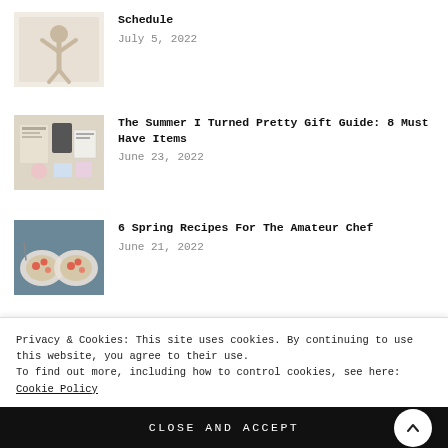[Figure (photo): Thumbnail image of a person with arms raised, lifestyle/schedule post]
Schedule
July 5, 2022
[Figure (photo): Thumbnail image of gift items including books and accessories]
The Summer I Turned Pretty Gift Guide: 8 Must Have Items
June 23, 2022
[Figure (photo): Thumbnail image of two plates of pasta/food dishes]
6 Spring Recipes For The Amateur Chef
June 21, 2022
Privacy & Cookies: This site uses cookies. By continuing to use this website, you agree to their use.
To find out more, including how to control cookies, see here: Cookie Policy
CLOSE AND ACCEPT